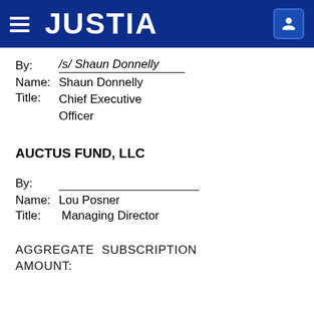JUSTIA
By:   /s/ Shaun Donnelly
Name: Shaun Donnelly
Title:   Chief Executive Officer
AUCTUS FUND, LLC
By:
Name: Lou Posner
Title:   Managing Director
AGGREGATE  SUBSCRIPTION AMOUNT: